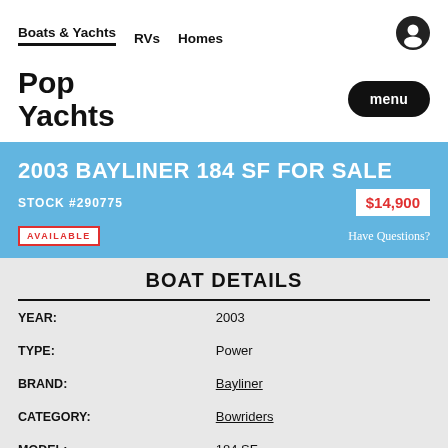Boats & Yachts | RVs | Homes
Pop Yachts
2003 BAYLINER 184 SF FOR SALE
STOCK #290775
$14,900
AVAILABLE
Have Questions?
BOAT DETAILS
| Field | Value |
| --- | --- |
| YEAR: | 2003 |
| TYPE: | Power |
| BRAND: | Bayliner |
| CATEGORY: | Bowriders |
| MODEL: | 184 SF |
| LENGTH (LOA): | 18' |